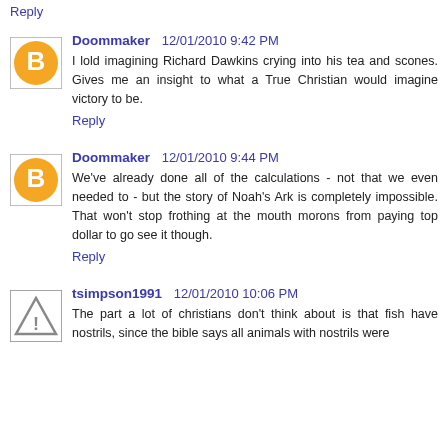Reply
Doommaker  12/01/2010 9:42 PM
I lold imagining Richard Dawkins crying into his tea and scones. Gives me an insight to what a True Christian would imagine victory to be.
Reply
Doommaker  12/01/2010 9:44 PM
We've already done all of the calculations - not that we even needed to - but the story of Noah's Ark is completely impossible. That won't stop frothing at the mouth morons from paying top dollar to go see it though.
Reply
tsimpson1991  12/01/2010 10:06 PM
The part a lot of christians don't think about is that fish have nostrils, since the bible says all animals with nostrils were...